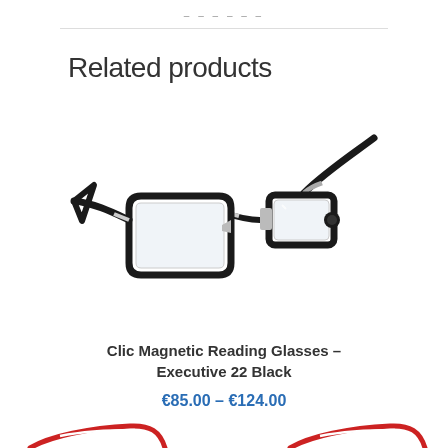Related products
[Figure (photo): Black Clic Magnetic Reading Glasses - Executive 22 Black, shown open with magnetic front clip and flexible neck band extended on a white background.]
Clic Magnetic Reading Glasses – Executive 22 Black
€85.00 – €124.00
[Figure (photo): Partially visible reading glasses at bottom of page, appears to be red/white colored frames.]